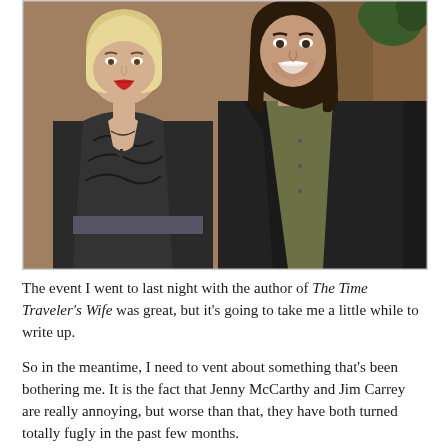[Figure (photo): A woman with a blonde bob haircut and red lipstick wearing a dark wrap top with black lace details and a cross necklace stands next to a man with long dark hair wearing a dark suit jacket over a dark olive shirt. They are posing together at what appears to be an event.]
The event I went to last night with the author of The Time Traveler's Wife was great, but it's going to take me a little while to write up.
So in the meantime, I need to vent about something that's been bothering me. It is the fact that Jenny McCarthy and Jim Carrey are really annoying, but worse than that, they have both turned totally fugly in the past few months.